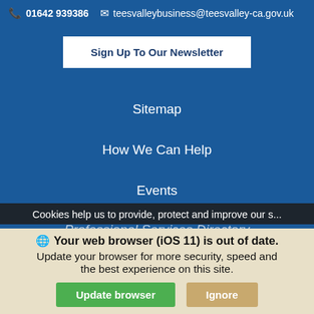📞 01642 939386  ✉ teesvalleybusiness@teesvalley-ca.gov.uk
Sign Up To Our Newsletter
Sitemap
How We Can Help
Events
Professional Services Directory
Cookies help us to provide, protect and improve our s...
Your web browser (iOS 11) is out of date. Update your browser for more security, speed and the best experience on this site.
Update browser   Ignore